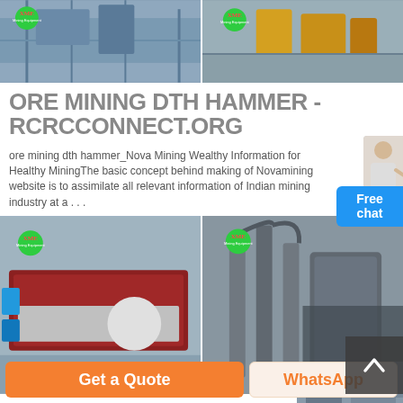[Figure (photo): Two side-by-side photos of industrial mining/milling equipment with XME brand logos]
ORE MINING DTH HAMMER - RCRCCONNECT.ORG
ore mining dth hammer_Nova Mining Wealthy Information for Healthy MiningThe basic concept behind making of Novamining website is to assimilate all relevant information of Indian mining industry at a . . .
[Figure (photo): Two side-by-side photos of industrial mining machinery (vibrating screen and dust collector) with XME brand logos; includes a back-to-top arrow button overlay and a small photo with timestamp]
BARRONITE DEPOSIT - OSRS WIKI
Mining barronite does not consume celestial ring charges, however the +4 invisible Mining boost still
[Figure (photo): Small photograph with timestamp 2012:08:06 11:36 in lower right corner]
Get a Quote
WhatsApp